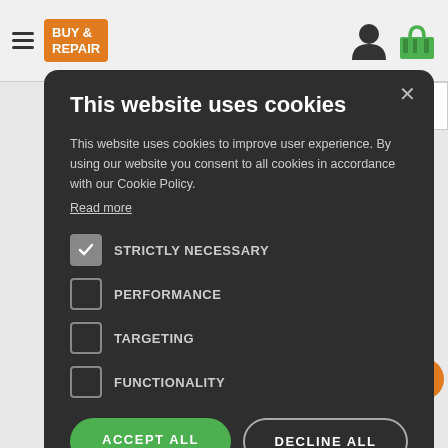BUY & REPAIR
This website uses cookies
This website uses cookies to improve user experience. By using our website you consent to all cookies in accordance with our Cookie Policy.
Read more
STRICTLY NECESSARY
PERFORMANCE
TARGETING
FUNCTIONALITY
ACCEPT ALL
DECLINE ALL
SHOW DETAILS
Door Seal LG
Ask for POSSIBILITY TO